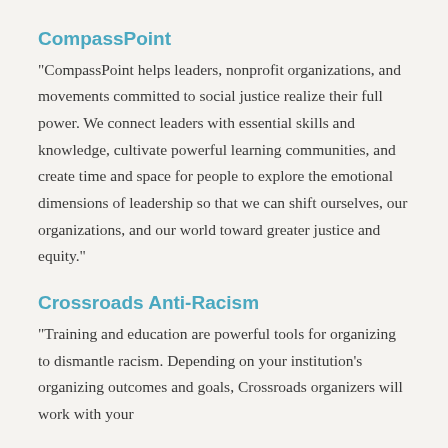CompassPoint
“CompassPoint helps leaders, nonprofit organizations, and movements committed to social justice realize their full power. We connect leaders with essential skills and knowledge, cultivate powerful learning communities, and create time and space for people to explore the emotional dimensions of leadership so that we can shift ourselves, our organizations, and our world toward greater justice and equity.”
Crossroads Anti-Racism
“Training and education are powerful tools for organizing to dismantle racism. Depending on your institution’s organizing outcomes and goals, Crossroads organizers will work with your